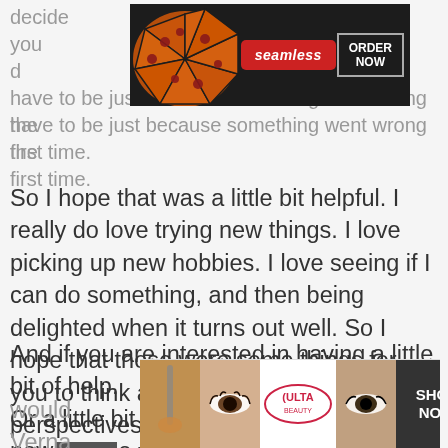decide... en you d... esn't have to be just because something went wrong the first time.
[Figure (screenshot): Seamless food delivery advertisement banner with pizza image, red 'seamless' logo button, and 'ORDER NOW' button on dark background]
So I hope that was a little bit helpful. I really do love trying new things. I love picking up new hobbies. I love seeing if I can do something, and then being delighted when it turns out well. So I hope that those were some things for you to think about. Some different perspectives that you can hold onto as you try new hobbies, And as you think about new things.
And if you are interested in having a little bit of help. Or a little bit of companionship to try new things, I would... Verna... he
[Figure (screenshot): Ulta Beauty advertisement banner showing makeup/beauty photos of women, Ulta logo, and 'SHOP NOW' button. Also shows a grey 'CLOSE' button overlay.]